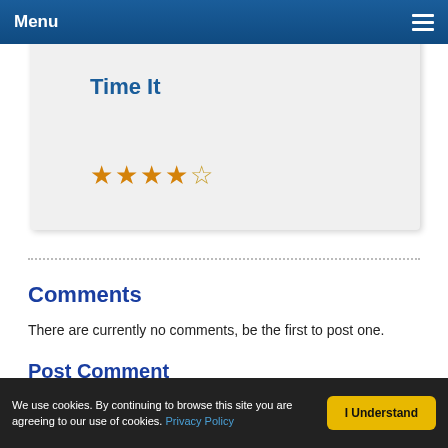Menu
Time It
[Figure (other): 4.5 star rating shown as gold star icons]
Comments
There are currently no comments, be the first to post one.
Post Comment
Name (required)
We use cookies. By continuing to browse this site you are agreeing to our use of cookies. Privacy Policy  I Understand